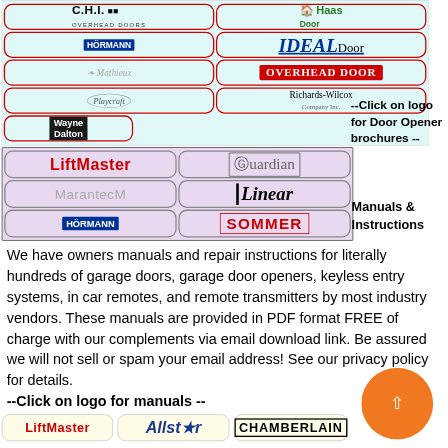[Figure (logo): Grid of garage door brand logos on cyan background: C.H.I. Overhead Doors, Haas Door, Hormann, IDEAL Door, Mathieux, Overhead Door, Playcraft, Richards-Wilcox, Wayne Dalton]
--Click on logo for Door Opener brochures --
[Figure (logo): Grid of garage door opener brand logos on lavender background: LiftMaster, Guardian, Marantec, Linear, Hormann, Sommer]
Manuals & Instructions
We have owners manuals and repair instructions for literally hundreds of garage doors, garage door openers, keyless entry systems, in car remotes, and remote transmitters by most industry vendors. These manuals are provided in PDF format FREE of charge with our complements via email download link. Be assured we will not sell or spam your email address! See our privacy policy for details.
--Click on logo for manuals --
[Figure (logo): Row of brand logos at bottom: LiftMaster, Allstar, Chamberlain]